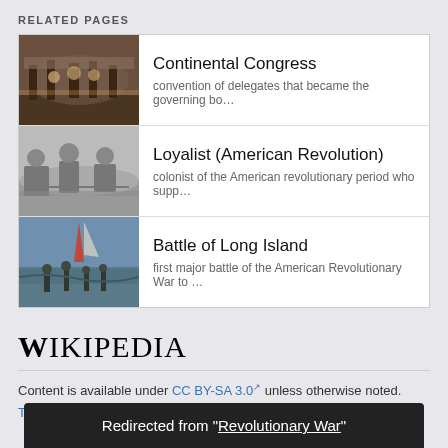RELATED PAGES
| Image | Title | Description |
| --- | --- | --- |
| [image] | Continental Congress | convention of delegates that became the governing bo… |
| [image] | Loyalist (American Revolution) | colonist of the American revolutionary period who supp… |
| [image] | Battle of Long Island | first major battle of the American Revolutionary War to … |
[Figure (logo): Wikipedia logo wordmark]
Content is available under CC BY-SA 3.0 unless otherwise noted.
Terms of Use  Privacy  Desktop
Redirected from "Revolutionary War"